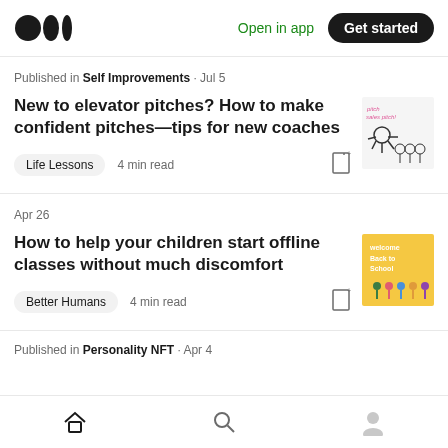Medium logo | Open in app | Get started
Published in Self Improvements · Jul 5
New to elevator pitches? How to make confident pitches—tips for new coaches
Life Lessons  4 min read
Apr 26
How to help your children start offline classes without much discomfort
Better Humans  4 min read
Published in Personality NFT · Apr 4
Home | Search | Profile